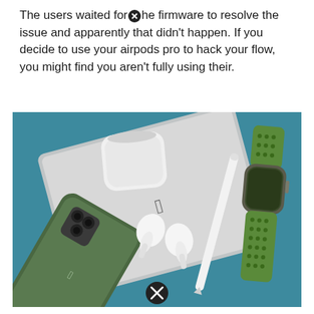The users waited for the firmware to resolve the issue and apparently that didn't happen. If you decide to use your airpods pro to hack your flow, you might find you aren't fully using their.
[Figure (photo): Photo of Apple devices laid out on a teal/blue fabric surface: an iPad Pro (silver/gray), AirPods Pro with case open and earbuds out, Apple Pencil, iPhone 11 Pro (green), and Apple Watch with a green Nike sport band. The photo has two close/cancel icons overlaid on it.]